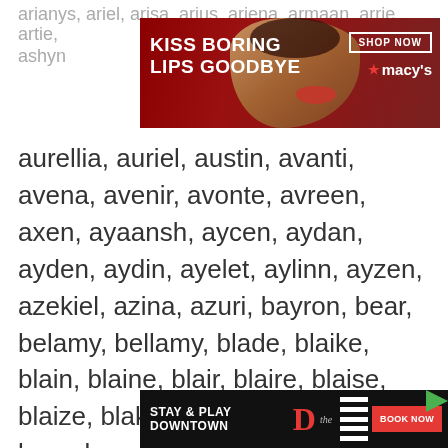arianys, ariel, arisa, arius, ariena, armaan, arrie, artie, ashyn
[Figure (photo): Macy's advertisement banner: red background with a woman's face wearing red lipstick, text 'KISS BORING LIPS GOODBYE', 'SHOP NOW' button, Macy's star logo]
aurellia, auriel, austin, avanti, avena, avenir, avonte, avreen, axen, ayaansh, aycen, aydan, ayden, aydin, ayelet, aylinn, ayzen, azekiel, azina, azuri, bayron, bear, belamy, bellamy, blade, blaike, blain, blaine, blair, blaire, blaise, blaize, blake, blayke, boyce, braun, bree, breyon, britley, brynnlea, caidan, caidon, cailin, cairo, calen,
cameri, camie, camiah, cane, caren, carey, cassia
We use cookies on our website to give you the most relevant experience by remembering your preferences and repeat visits. By clicking “Accept”, you consent to the use of ALL the cookies.
Do not sell my personal information.
[Figure (photo): The D Las Vegas hotel advertisement: black background, 'STAY & PLAY DOWNTOWN' text, The D logo in red, striped piano keys visual, 'BOOK NOW' button]